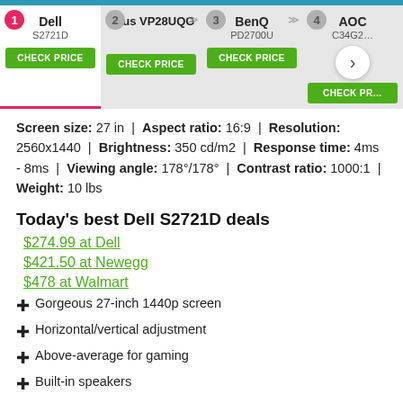Product comparison navigation: 1 Dell S2721D, 2 Asus VP28UQG, 3 BenQ PD2700U, 4 AOC C34G2
Screen size: 27 in | Aspect ratio: 16:9 | Resolution: 2560x1440 | Brightness: 350 cd/m2 | Response time: 4ms - 8ms | Viewing angle: 178°/178° | Contrast ratio: 1000:1 | Weight: 10 lbs
Today's best Dell S2721D deals
$274.99 at Dell
$421.50 at Newegg
$478 at Walmart
Gorgeous 27-inch 1440p screen
Horizontal/vertical adjustment
Above-average for gaming
Built-in speakers